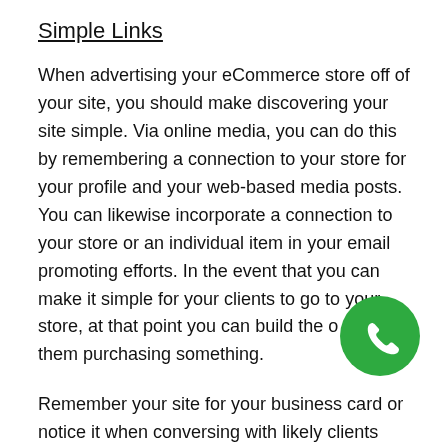Simple Links
When advertising your eCommerce store off of your site, you should make discovering your site simple. Via online media, you can do this by remembering a connection to your store for your profile and your web-based media posts. You can likewise incorporate a connection to your store or an individual item in your email promoting efforts. In the event that you can make it simple for your clients to go to your store, at that point you can build the odds of them purchasing something.
Remember your site for your business card or notice it when conversing with likely clients face